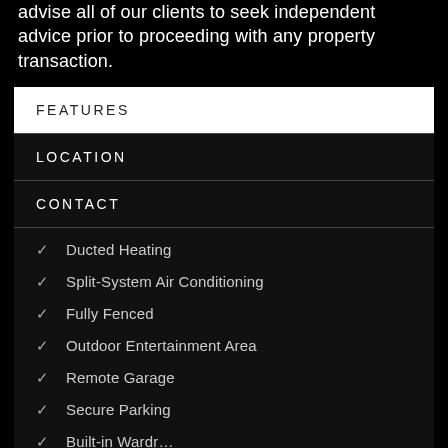advise all of our clients to seek independent advice prior to proceeding with any property transaction.
FEATURES
LOCATION
CONTACT
Ducted Heating
Split-System Air Conditioning
Fully Fenced
Outdoor Entertainment Area
Remote Garage
Secure Parking
Built-in Wardr...